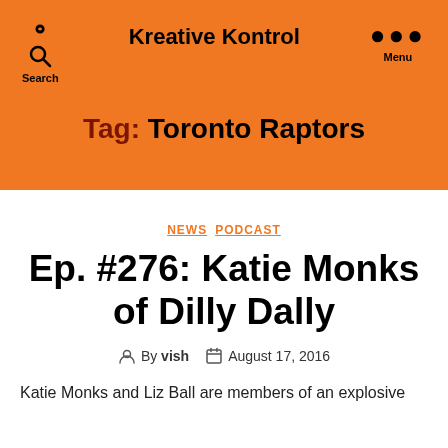Kreative Kontrol
Tag: Toronto Raptors
NEWS  PODCAST
Ep. #276: Katie Monks of Dilly Dally
By vish  August 17, 2016
Katie Monks and Liz Ball are members of an explosive